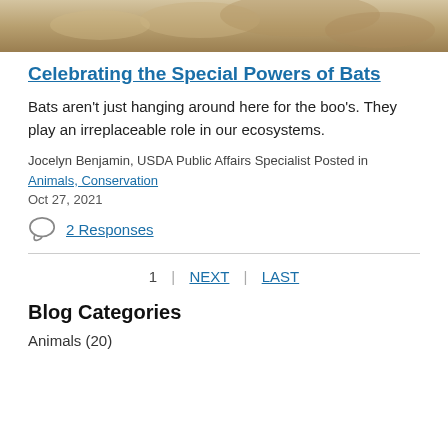[Figure (photo): Close-up photo of a bat, showing fur texture in beige/tan tones]
Celebrating the Special Powers of Bats
Bats aren’t just hanging around here for the boo’s. They play an irreplaceable role in our ecosystems.
Jocelyn Benjamin, USDA Public Affairs Specialist Posted in Animals, Conservation
Oct 27, 2021
2 Responses
1   |   NEXT   |   LAST
Blog Categories
Animals (20)